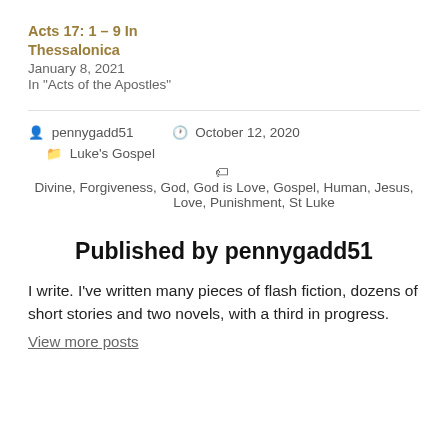Acts 17: 1 – 9 In Thessalonica
January 8, 2021
In "Acts of the Apostles"
pennygadd51   October 12, 2020   Luke's Gospel
Divine, Forgiveness, God, God is Love, Gospel, Human, Jesus, Love, Punishment, St Luke
Published by pennygadd51
I write. I've written many pieces of flash fiction, dozens of short stories and two novels, with a third in progress.
View more posts